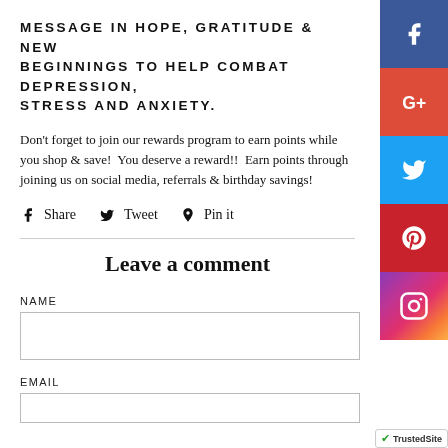MESSAGE IN HOPE, GRATITUDE & NEW BEGINNINGS TO HELP COMBAT DEPRESSION, STRESS AND ANXIETY.
Don't forget to join our rewards program to earn points while you shop & save!  You deserve a reward!!  Earn points through joining us on social media, referrals & birthday savings!
f Share   Tweet   Pin it
Leave a comment
NAME
EMAIL